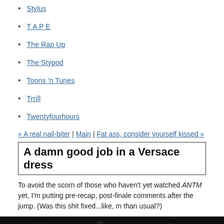Stylus
T A P E
The Rap Up
The Stypod
Toons 'n Tunes
Trrill
Twentyfourhours
« A real nail-biter | Main | Fat ass, consider yourself kissed »
A damn good job in a Versace dress
To avoid the scorn of those who haven't yet watched ANTM yet, I'm putting pre-recap, post-finale comments after the jump. (Was this shit fixed...like, m than usual?)
[Figure (photo): A dark photograph showing a blonde person, cropped at the head and shoulders, against a dark background.]